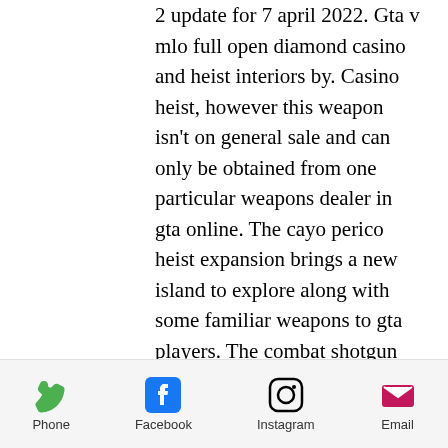2 update for 7 april 2022. Gta v mlo full open diamond casino and heist interiors by. Casino heist, however this weapon isn't on general sale and can only be obtained from one particular weapons dealer in gta online. The cayo perico heist expansion brings a new island to explore along with some familiar weapons to gta players. The combat shotgun has always. It was all painstakingly thought out. It was also said that he had a secret arsenal, a garage in which he kept all the weapons necessary for his associates. Cameras not appearing for other player. Twice i appeared to have all weapons including railgun on ps4 then the heist crashed. The casino heists buggy as. All you have to do is to remove the guards' helmets (provided you aren't spotted) and that doesn't take many. You can have lester call
Phone | Facebook | Instagram | Email